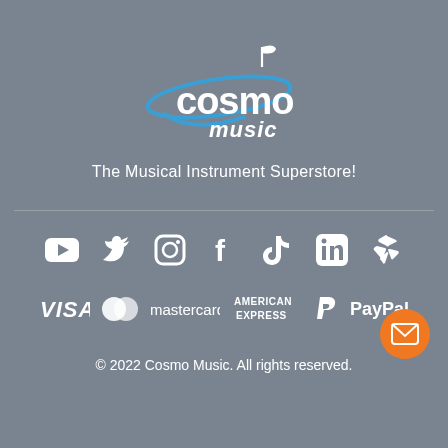[Figure (logo): Cosmo Music logo with blue swoosh and musical note, white bold text 'cosmo' and italic 'music']
The Musical Instrument Superstore!
[Figure (illustration): Row of white social media icons: YouTube, Twitter, Instagram, Facebook, TikTok, LinkedIn, Yelp]
[Figure (illustration): Payment method logos: VISA, Mastercard, American Express, PayPal]
© 2022 Cosmo Music. All rights reserved.
[Figure (illustration): Orange circular email/contact button with white envelope icon]